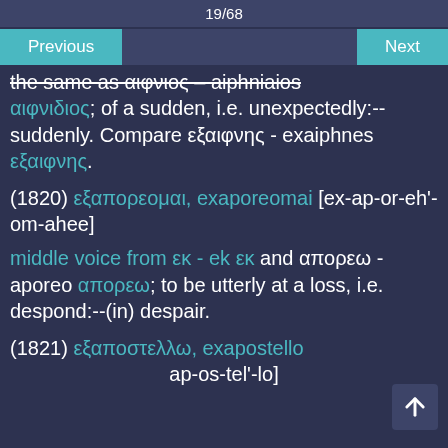19/68
Previous    Next
the same as αιφνιος – aiphniaios αιφνιδιος; of a sudden, i.e. unexpectedly:--suddenly. Compare εξαιφνης - exaiphnes εξαιφνης.
(1820) εξαπορεομαι, exaporeomai [ex-ap-or-eh'-om-ahee]
middle voice from εκ - ek εκ and απορεω - aporeo απορεω; to be utterly at a loss, i.e. despond:--(in) despair.
(1821) εξαποστελλω, exapostello [ex-ap-os-tel'-lo]